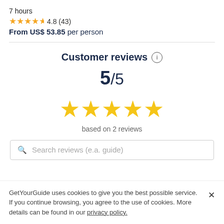7 hours
★★★★½ 4.8 (43)
From US$ 53.85 per person
Customer reviews ⓘ
5/5
[Figure (other): 5 large yellow stars]
based on 2 reviews
Search reviews (e.a. guide)
GetYourGuide uses cookies to give you the best possible service. If you continue browsing, you agree to the use of cookies. More details can be found in our privacy policy.